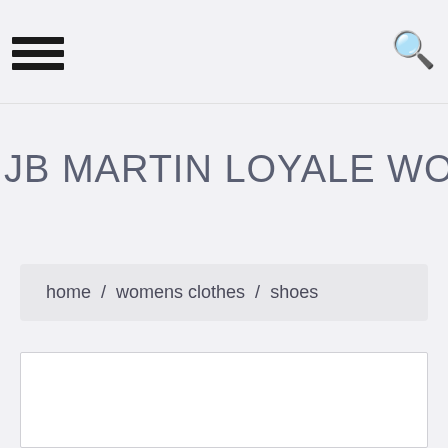navigation bar with hamburger menu and search icon
JB MARTIN LOYALE WOMENS SANDALS IN
home / womens clothes / shoes
[Figure (other): White product image placeholder box]